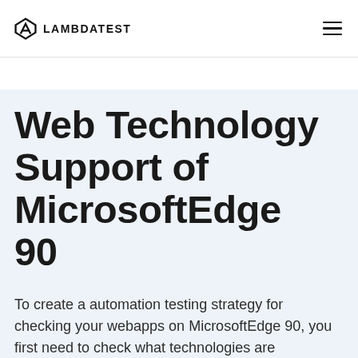LAMBDATEST
Web Technology Support of MicrosoftEdge 90
To create a automation testing strategy for checking your webapps on MicrosoftEdge 90, you first need to check what technologies are